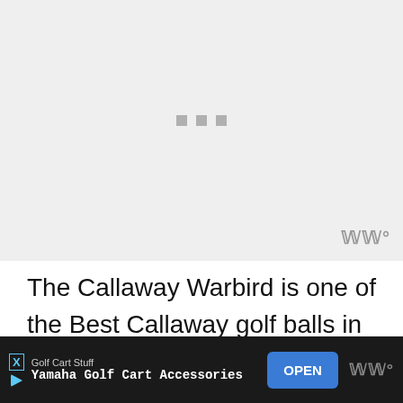[Figure (photo): Light gray placeholder image area with three small gray square loading dots in the center and a watermark symbol at bottom right]
The Callaway Warbird is one of the Best Callaway golf balls in terms of value. These two-piece golf balls have been a part of the
[Figure (other): Advertisement bar at bottom: Golf Cart Stuff - Yamaha Golf Cart Accessories with OPEN button]